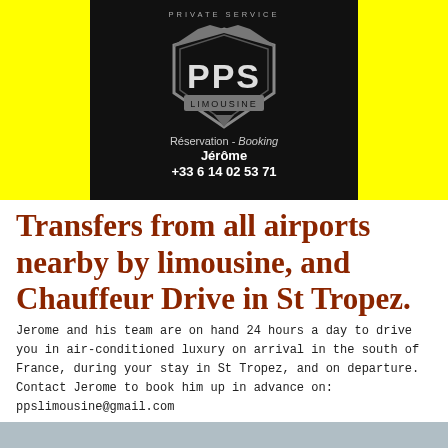[Figure (logo): PPS Limousine logo on black background with yellow side panels. Shows shield emblem with 'PPS LIMOUSINE' text, reservation/booking info: Jérôme, +33 6 14 02 53 71]
Transfers from all airports nearby by limousine, and Chauffeur Drive in St Tropez.
Jerome and his team are on hand 24 hours a day to drive you in air-conditioned luxury on arrival in the south of France, during your stay in St Tropez, and on departure.
Contact Jerome to book him up in advance on:
ppslimousine@gmail.com